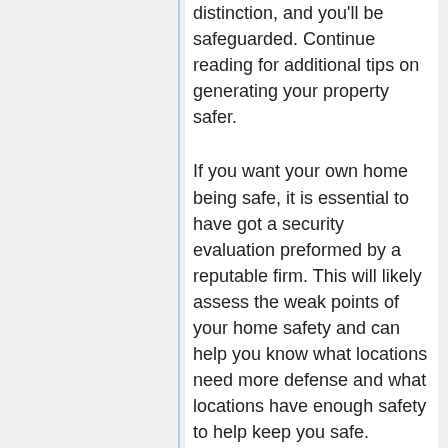distinction, and you'll be safeguarded. Continue reading for additional tips on generating your property safer.
If you want your own home being safe, it is essential to have got a security evaluation preformed by a reputable firm. This will likely assess the weak points of your home safety and can help you know what locations need more defense and what locations have enough safety to help keep you safe.
Your car port needs to be protect. Intruders could easily enter your car port and gain access to your house. Employing a C-clamp on the garage area doorway may prevent it from